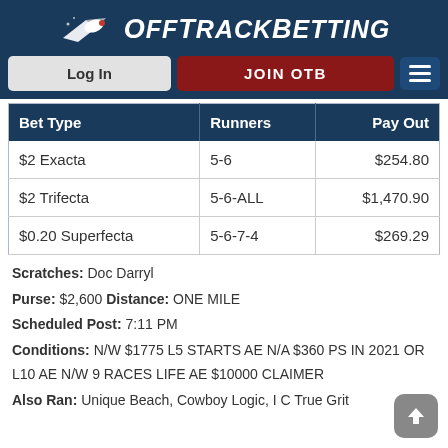OffTrackBetting
| Bet Type | Runners | Pay Out |
| --- | --- | --- |
| $2 Exacta | 5-6 | $254.80 |
| $2 Trifecta | 5-6-ALL | $1,470.90 |
| $0.20 Superfecta | 5-6-7-4 | $269.29 |
Scratches: Doc Darryl
Purse: $2,600 Distance: ONE MILE
Scheduled Post: 7:11 PM
Conditions: N/W $1775 L5 STARTS AE N/A $360 PS IN 2021 OR L10 AE N/W 9 RACES LIFE AE $10000 CLAIMER
Also Ran: Unique Beach, Cowboy Logic, I C True Grit